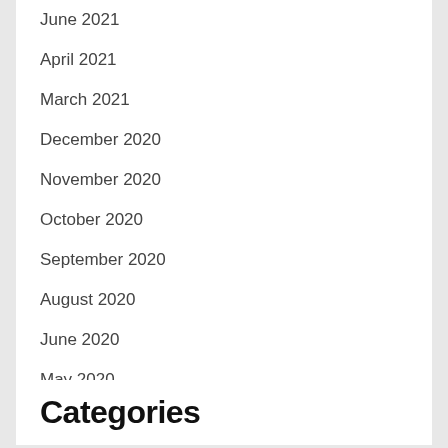June 2021
April 2021
March 2021
December 2020
November 2020
October 2020
September 2020
August 2020
June 2020
May 2020
Categories